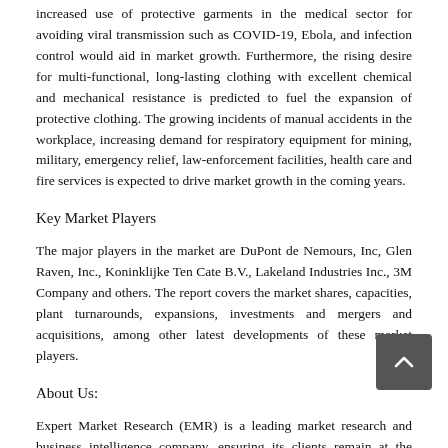increased use of protective garments in the medical sector for avoiding viral transmission such as COVID-19, Ebola, and infection control would aid in market growth. Furthermore, the rising desire for multi-functional, long-lasting clothing with excellent chemical and mechanical resistance is predicted to fuel the expansion of protective clothing. The growing incidents of manual accidents in the workplace, increasing demand for respiratory equipment for mining, military, emergency relief, law-enforcement facilities, health care and fire services is expected to drive market growth in the coming years.
Key Market Players
The major players in the market are DuPont de Nemours, Inc, Glen Raven, Inc., Koninklijke Ten Cate B.V., Lakeland Industries Inc., 3M Company and others. The report covers the market shares, capacities, plant turnarounds, expansions, investments and mergers and acquisitions, among other latest developments of these market players.
About Us:
Expert Market Research (EMR) is a leading market research and business intelligence company, ensuring its clients remain at the vanguard of their industries by providing them with exhaustive and actionable market data through its syndicated and custom market reports, covering over 15 major